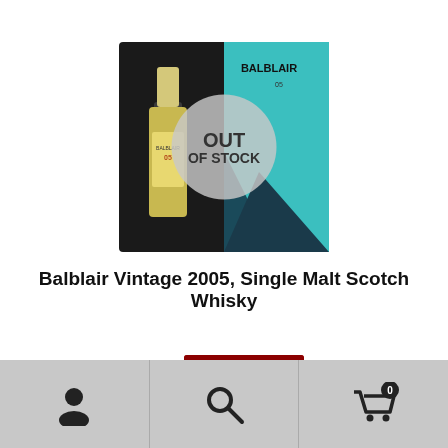[Figure (photo): Balblair Vintage 2005 Single Malt Scotch Whisky bottle and box with 'OUT OF STOCK' overlay]
Balblair Vintage 2005, Single Malt Scotch Whisky
[Figure (photo): Balblair 1989 Single Malt Scotch Whisky bottle and box with 'OUT OF STOCK' overlay]
Navigation bar with user, search, and cart (0) icons